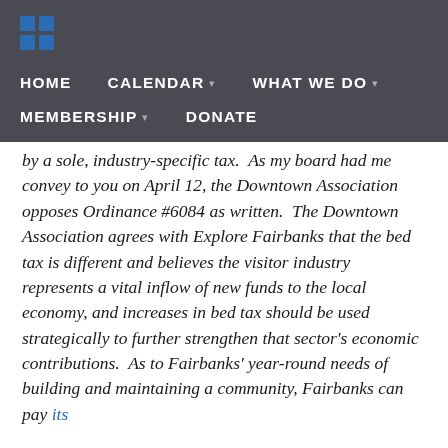HOME   CALENDAR   WHAT WE DO   MEMBERSHIP   DONATE
by a sole, industry-specific tax.  As my board had me convey to you on April 12, the Downtown Association opposes Ordinance #6084 as written.  The Downtown Association agrees with Explore Fairbanks that the bed tax is different and believes the visitor industry represents a vital inflow of new funds to the local economy, and increases in bed tax should be used strategically to further strengthen that sector's economic contributions.  As to Fairbanks' year-round needs of building and maintaining a community, Fairbanks can pay its